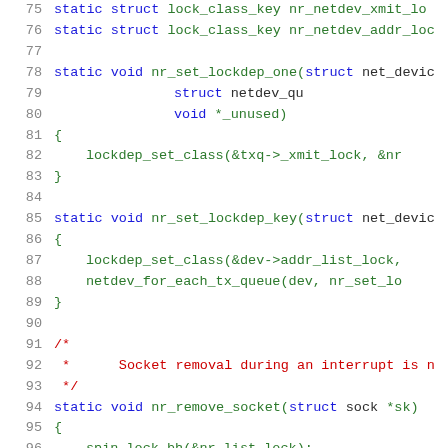[Figure (screenshot): Source code listing showing C kernel networking code with line numbers 75-96, displaying functions nr_set_lockdep_one, nr_set_lockdep_key, and start of nr_remove_socket with syntax highlighting]